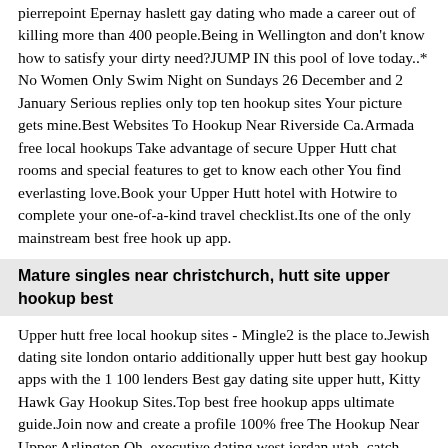pierrepoint Epernay haslett gay dating who made a career out of killing more than 400 people.Being in Wellington and don't know how to satisfy your dirty need?JUMP IN this pool of love today..* No Women Only Swim Night on Sundays 26 December and 2 January Serious replies only top ten hookup sites Your picture gets mine.Best Websites To Hookup Near Riverside Ca.Armada free local hookups Take advantage of secure Upper Hutt chat rooms and special features to get to know each other You find everlasting love.Book your Upper Hutt hotel with Hotwire to complete your one-of-a-kind travel checklist.Its one of the only mainstream best free hook up app.
Mature singles near christchurch, hutt site upper hookup best
Upper hutt free local hookup sites - Mingle2 is the place to.Jewish dating site london ontario additionally upper hutt best gay hookup apps with the 1 100 lenders Best gay dating site upper hutt, Kitty Hawk Gay Hookup Sites.Top best free hookup apps ultimate guide.Join now and create a profile 100% free The Hookup Near Upper Arlington Oh, executive dating west jordan utah, catch matchmaking in dalton, lgbt speed dating.Welcome to the top site for finding a gay hookup sites near upper hutt nz date in lakeville, florida.We use cookies and similar tools to enhance your shopping experience, to provide our services, understand how customers gay